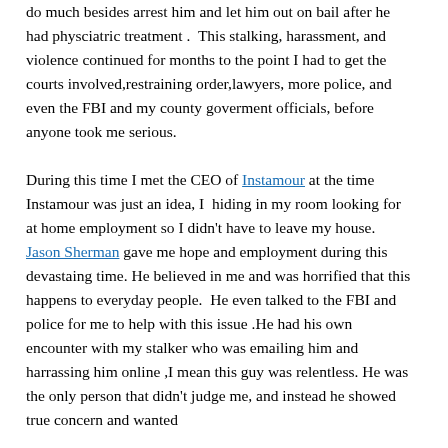do much besides arrest him and let him out on bail after he had physciatric treatment .  This stalking, harassment, and violence continued for months to the point I had to get the courts involved,restraining order,lawyers, more police, and even the FBI and my county goverment officials, before anyone took me serious.

During this time I met the CEO of Instamour at the time Instamour was just an idea, I  hiding in my room looking for at home employment so I didn't have to leave my house.  Jason Sherman gave me hope and employment during this devastaing time. He believed in me and was horrified that this happens to everyday people.  He even talked to the FBI and police for me to help with this issue .He had his own encounter with my stalker who was emailing him and harrassing him online ,I mean this guy was relentless. He was the only person that didn't judge me, and instead he showed true concern and wanted